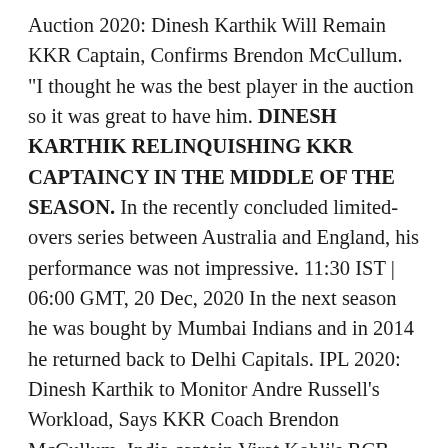Auction 2020: Dinesh Karthik Will Remain KKR Captain, Confirms Brendon McCullum. "I thought he was the best player in the auction so it was great to have him. DINESH KARTHIK RELINQUISHING KKR CAPTAINCY IN THE MIDDLE OF THE SEASON. In the recently concluded limited-overs series between Australia and England, his performance was not impressive. 11:30 IST | 06:00 GMT, 20 Dec, 2020 In the next season he was bought by Mumbai Indians and in 2014 he returned back to Delhi Capitals. IPL 2020: Dinesh Karthik to Monitor Andre Russell's Workload, Says KKR Coach Brendon McCullum. India captain Virat Kohli's RCB snapped up Australia limited overs captain Aaron Finch for Rs4.40 crore.